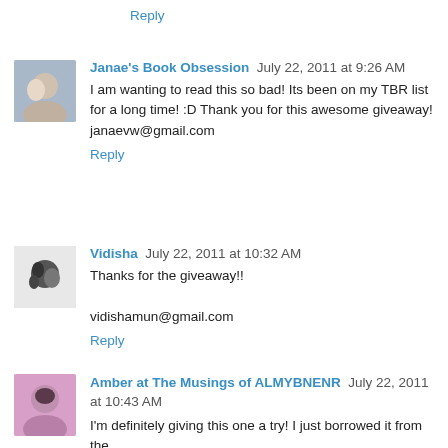Reply
Janae's Book Obsession July 22, 2011 at 9:26 AM
I am wanting to read this so bad! Its been on my TBR list for a long time! :D Thank you for this awesome giveaway! janaevw@gmail.com
Reply
Vidisha July 22, 2011 at 10:32 AM
Thanks for the giveaway!!
vidishamun@gmail.com
Reply
Amber at The Musings of ALMYBNENR July 22, 2011 at 10:43 AM
I'm definitely giving this one a try! I just borrowed it from the